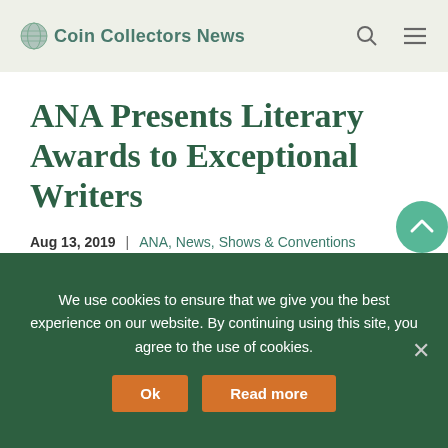Coin Collectors News
ANA Presents Literary Awards to Exceptional Writers
Aug 13, 2019 | ANA, News, Shows & Conventions
Thank you for visiting. You
We use cookies to ensure that we give you the best experience on our website. By continuing using this site, you agree to the use of cookies.